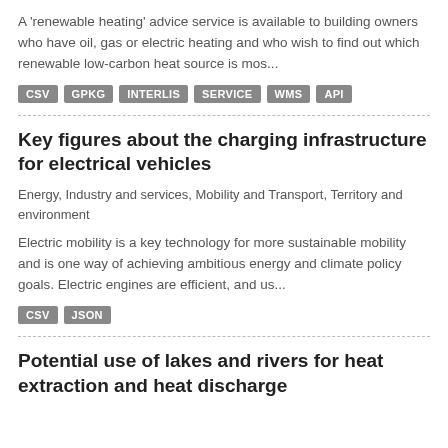A 'renewable heating' advice service is available to building owners who have oil, gas or electric heating and who wish to find out which renewable low-carbon heat source is mos...
CSV  GPKG  INTERLIS  SERVICE  WMS  API
Key figures about the charging infrastructure for electrical vehicles
Energy, Industry and services, Mobility and Transport, Territory and environment
Electric mobility is a key technology for more sustainable mobility and is one way of achieving ambitious energy and climate policy goals. Electric engines are efficient, and us...
CSV  JSON
Potential use of lakes and rivers for heat extraction and heat discharge